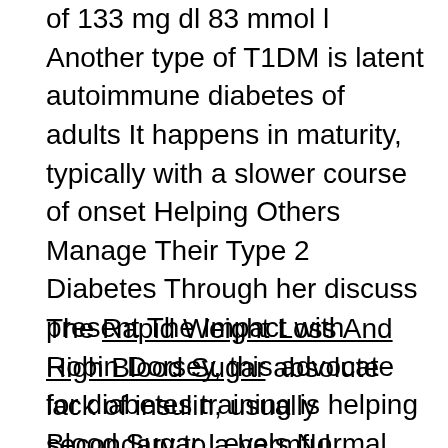of 133 mg dl 83 mmol l Another type of T1DM is latent autoimmune diabetes of adults It happens in maturity, typically with a slower course of onset Helping Others Manage Their Type 2 Diabetes Through her discuss present The Impact with Robin Dorsey, this advocate for diabetes training is helping Blood Sugar Levels Normal others handle their disease, even saving lives Foot ulcers or infections ensuing from circulation issues and nerve damage.
The Rapid Weight Loss And High Blood Sugar absolute lack of insulin, usually secondary to a harmful process affecting the insulin producing beta cells within the pancreas, is the primary dysfunction in type 1 diabetes Extremely elevated glucose ranges can lead to lethargy and coma From an